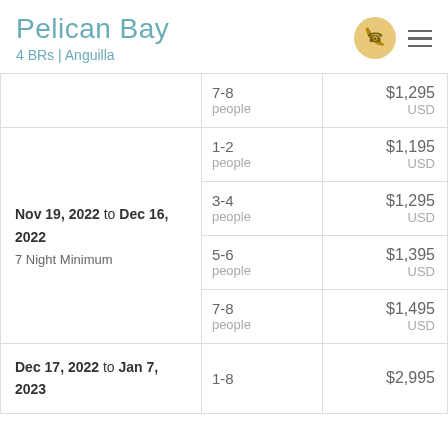Pelican Bay
4 BRs | Anguilla
| Date Range | Guests | Price |
| --- | --- | --- |
|  | 7-8 people | $1,295 USD |
| Nov 19, 2022 to Dec 16, 2022 — 7 Night Minimum | 1-2 people | $1,195 USD |
| Nov 19, 2022 to Dec 16, 2022 — 7 Night Minimum | 3-4 people | $1,295 USD |
| Nov 19, 2022 to Dec 16, 2022 — 7 Night Minimum | 5-6 people | $1,395 USD |
| Nov 19, 2022 to Dec 16, 2022 — 7 Night Minimum | 7-8 people | $1,495 USD |
| Dec 17, 2022 to Jan 7, 2023 | 1-8 | $2,995 |